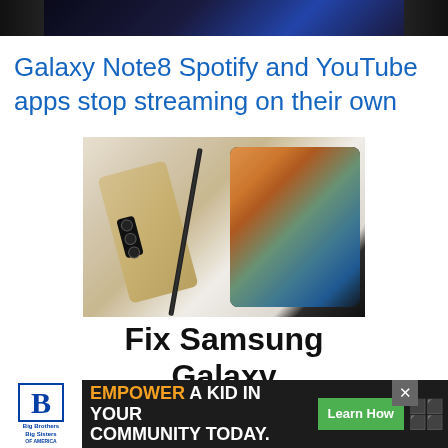[Figure (photo): Top portion of a smartphone showing a screen with colorful app icons, cropped at top of page]
Galaxy Note8 Spotify and YouTube apps stop streaming on their own
[Figure (photo): Samsung Galaxy Z Fold 4 folding smartphone shown from multiple angles with a stylus pen, on light background. Bold text overlay reads 'Fix Samsung Galaxy Z Fold 4 Battery']
Fix Samsung Galaxy Z Fold 4 Battery
Draining Probl...
[Figure (other): Advertisement banner: Big Brothers Big Sisters logo on white background, text 'EMPOWER A KID IN YOUR COMMUNITY TODAY.' with green 'Learn How' button and weather icon]